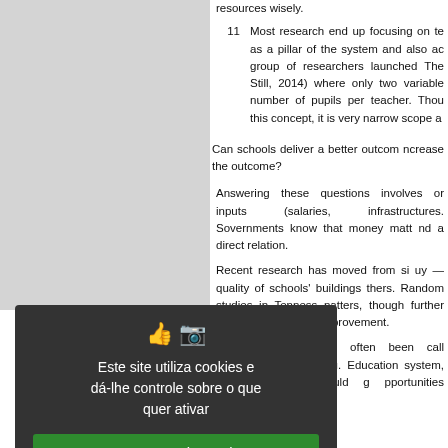resources wisely.
11   Most research end up focusing on te as a pillar of the system and also acc group of researchers launched The Still, 2014) where only two variable number of pupils per teacher. Thou this concept, it is very narrow scope a
Can schools deliver a better outcom ncrease the outcome?
Answering these questions involves or inputs (salaries, infrastructures. Sovernments know that money matt nd a direct relation.
Recent research has moved from si uy — quality of schools' buildings thers. Random studies in Tenness natters, though further studies are s esults' improvement.
Complex theory has often been call ssociated with learning. Education system, where funding should g pportunities students will learn a
[Figure (screenshot): Cookie consent modal overlay with dark background. Title: 'Este site utiliza cookies e dá-lhe controle sobre o que quer ativar'. Three buttons: green 'OK, aceitar tudo', red 'Proibe todos cookies', white 'Personalizar'. Link: 'Política de Privacidade'.]